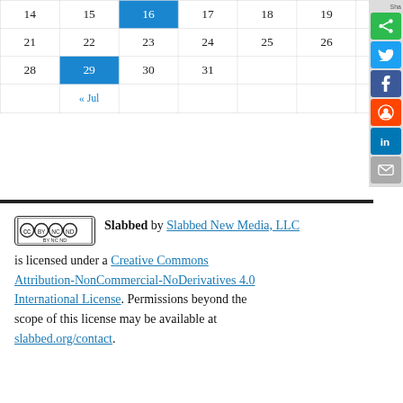| Sun | Mon | Tue | Wed | Thu | Fri | Sat |
| --- | --- | --- | --- | --- | --- | --- |
| 14 | 15 | 16 | 17 | 18 | 19 | 20 |
| 21 | 22 | 23 | 24 | 25 | 26 | 27 |
| 28 | 29 | 30 | 31 |  |  |  |
| « Jul |  |  |  |  |  |  |
[Figure (other): Social sharing sidebar with buttons: Share, green share, Twitter, Facebook, Reddit, LinkedIn, Email]
Slabbed by Slabbed New Media, LLC is licensed under a Creative Commons Attribution-NonCommercial-NoDerivatives 4.0 International License. Permissions beyond the scope of this license may be available at slabbed.org/contact.